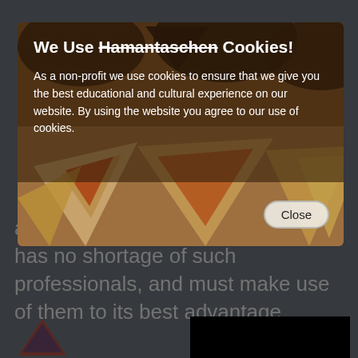[Figure (screenshot): Cookie consent modal overlay on a website. The modal shows a close-up photograph of hamantaschen cookies (triangular Jewish pastries with fruit filling) as background. On top of the photo is a semi-transparent dark overlay with text. The modal title reads 'We Use Hamantaschen Cookies!' with 'Hamantaschen' struck through. Below is body text explaining cookie use. A 'Close' button appears in the lower right of the modal.]
We Use Hamantaschen Cookies!
As a non-profit we use cookies to ensure that we give you the best educational and cultural experience on our website. By using the website you agree to our use of cookies.
annual commemorations. America has no shortage of such professionals, and must make use of them to its best advantage.